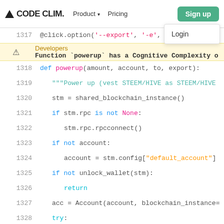CODE CLIM.  Product  Pricing  Sign up  Login  Developers
[Figure (screenshot): Code Climate website navbar with logo, Product dropdown, Pricing link, Sign up button, Login dropdown menu showing 'Login' and 'Developers' options]
Warning: Function `powerup` has a Cognitive Complexity o
1317  @click.option('--export', '-e', ... set,
1318  def powerup(amount, account, to, export):
1319      """Power up (vest STEEM/HIVE as STEEM/HIVE
1320      stm = shared_blockchain_instance()
1321      if stm.rpc is not None:
1322          stm.rpc.rpcconnect()
1323      if not account:
1324          account = stm.config["default_account"]
1325      if not unlock_wallet(stm):
1326          return
1327      acc = Account(account, blockchain_instance=
1328      try:
1329          amount = float(amount)
1330      except:
1331          amount = str(amount)